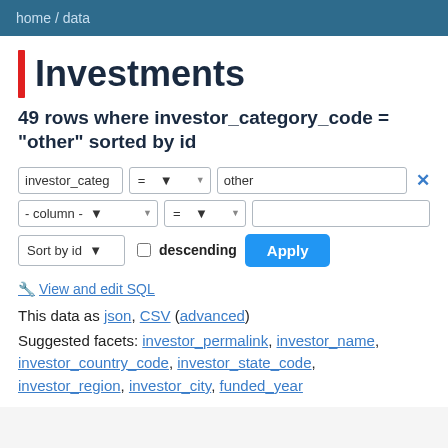home / data
Investments
49 rows where investor_category_code = "other" sorted by id
View and edit SQL
This data as json, CSV (advanced)
Suggested facets: investor_permalink, investor_name, investor_country_code, investor_state_code, investor_region, investor_city, funded_year